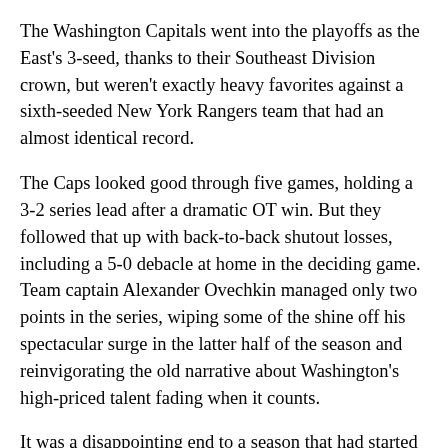The Washington Capitals went into the playoffs as the East's 3-seed, thanks to their Southeast Division crown, but weren't exactly heavy favorites against a sixth-seeded New York Rangers team that had an almost identical record.
The Caps looked good through five games, holding a 3-2 series lead after a dramatic OT win. But they followed that up with back-to-back shutout losses, including a 5-0 debacle at home in the deciding game. Team captain Alexander Ovechkin managed only two points in the series, wiping some of the shine off his spectacular surge in the latter half of the season and reinvigorating the old narrative about Washington's high-priced talent fading when it counts.
It was a disappointing end to a season that had started to feel like a redemption story for a franchise that everyone seems strangely eager to write off. Rookie coach Adam Oates and the Capitals do seem like they're on the right track. But regardless of how you get there, a Game 7 loss on home ice is always hard to swallow.